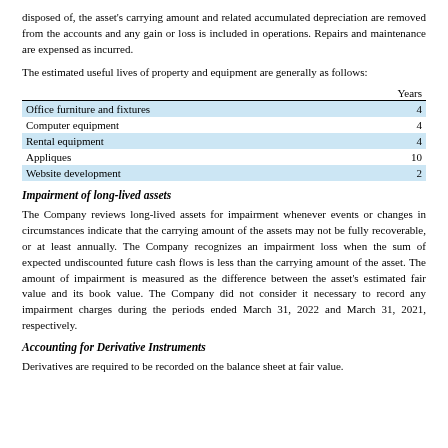disposed of, the asset's carrying amount and related accumulated depreciation are removed from the accounts and any gain or loss is included in operations. Repairs and maintenance are expensed as incurred.
The estimated useful lives of property and equipment are generally as follows:
|  | Years |
| --- | --- |
| Office furniture and fixtures | 4 |
| Computer equipment | 4 |
| Rental equipment | 4 |
| Appliques | 10 |
| Website development | 2 |
Impairment of long-lived assets
The Company reviews long-lived assets for impairment whenever events or changes in circumstances indicate that the carrying amount of the assets may not be fully recoverable, or at least annually. The Company recognizes an impairment loss when the sum of expected undiscounted future cash flows is less than the carrying amount of the asset. The amount of impairment is measured as the difference between the asset's estimated fair value and its book value. The Company did not consider it necessary to record any impairment charges during the periods ended March 31, 2022 and March 31, 2021, respectively.
Accounting for Derivative Instruments
Derivatives are required to be recorded on the balance sheet at fair value.